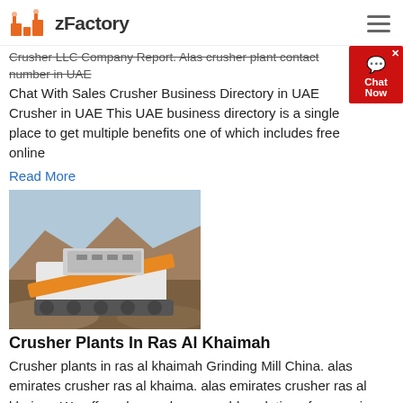zFactory
Crusher LLC Company Report. Alas crusher plant contact number in UAE Chat With Sales Crusher Business Directory in UAE Crusher in UAE This UAE business directory is a single place to get multiple benefits one of which includes free online
Read More
[Figure (photo): Photo of a mobile crusher plant machine on a rocky quarry site with mountains in the background. The machine is white with an orange conveyor belt.]
Crusher Plants In Ras Al Khaimah
Crusher plants in ras al khaimah Grinding Mill China. alas emirates crusher ras al khaima. alas emirates crusher ras al khaima. We offer advanced, reasonable solutions for any size, reduction requirements including quarry, aggregate, and different kinds of . Quarry Company In Ras Al Khaimah, Crusher USA. Get Price; Crushers Plants In Ras Al...
Read More